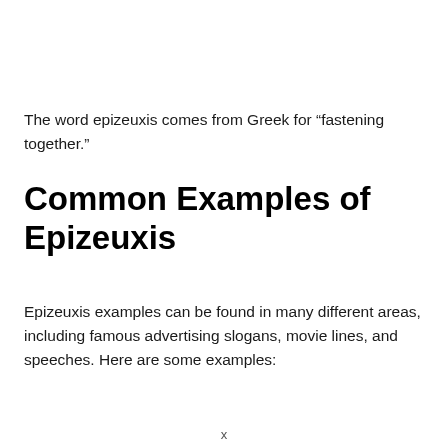The word epizeuxis comes from Greek for “fastening together.”
Common Examples of Epizeuxis
Epizeuxis examples can be found in many different areas, including famous advertising slogans, movie lines, and speeches. Here are some examples:
x